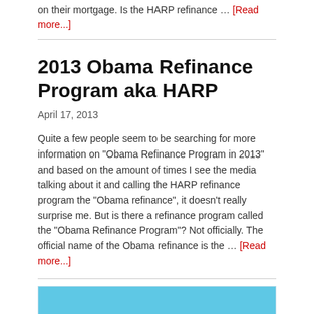on their mortgage. Is the HARP refinance … [Read more...]
2013 Obama Refinance Program aka HARP
April 17, 2013
Quite a few people seem to be searching for more information on "Obama Refinance Program in 2013" and based on the amount of times I see the media talking about it and calling the HARP refinance program the "Obama refinance", it doesn't really surprise me. But is there a refinance program called the "Obama Refinance Program"? Not officially. The official name of the Obama refinance is the … [Read more...]
[Figure (photo): Blue image/banner at bottom of page, partially visible]